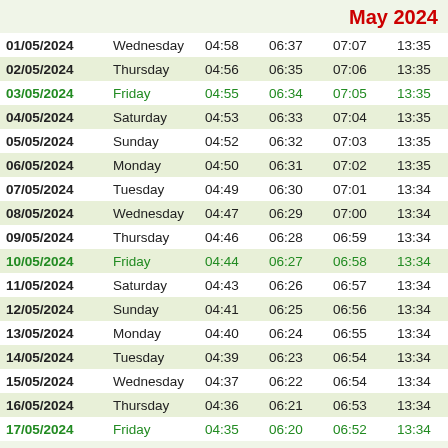May 2024
| Date | Day | Col3 | Col4 | Col5 | Col6 | Col7 |
| --- | --- | --- | --- | --- | --- | --- |
| 01/05/2024 | Wednesday | 04:58 | 06:37 | 07:07 | 13:35 | 1 |
| 02/05/2024 | Thursday | 04:56 | 06:35 | 07:06 | 13:35 | 1 |
| 03/05/2024 | Friday | 04:55 | 06:34 | 07:05 | 13:35 | 1 |
| 04/05/2024 | Saturday | 04:53 | 06:33 | 07:04 | 13:35 | 1 |
| 05/05/2024 | Sunday | 04:52 | 06:32 | 07:03 | 13:35 | 1 |
| 06/05/2024 | Monday | 04:50 | 06:31 | 07:02 | 13:35 | 1 |
| 07/05/2024 | Tuesday | 04:49 | 06:30 | 07:01 | 13:34 | 1 |
| 08/05/2024 | Wednesday | 04:47 | 06:29 | 07:00 | 13:34 | 1 |
| 09/05/2024 | Thursday | 04:46 | 06:28 | 06:59 | 13:34 | 1 |
| 10/05/2024 | Friday | 04:44 | 06:27 | 06:58 | 13:34 | 1 |
| 11/05/2024 | Saturday | 04:43 | 06:26 | 06:57 | 13:34 | 1 |
| 12/05/2024 | Sunday | 04:41 | 06:25 | 06:56 | 13:34 | 1 |
| 13/05/2024 | Monday | 04:40 | 06:24 | 06:55 | 13:34 | 1 |
| 14/05/2024 | Tuesday | 04:39 | 06:23 | 06:54 | 13:34 | 1 |
| 15/05/2024 | Wednesday | 04:37 | 06:22 | 06:54 | 13:34 | 1 |
| 16/05/2024 | Thursday | 04:36 | 06:21 | 06:53 | 13:34 | 1 |
| 17/05/2024 | Friday | 04:35 | 06:20 | 06:52 | 13:34 | 1 |